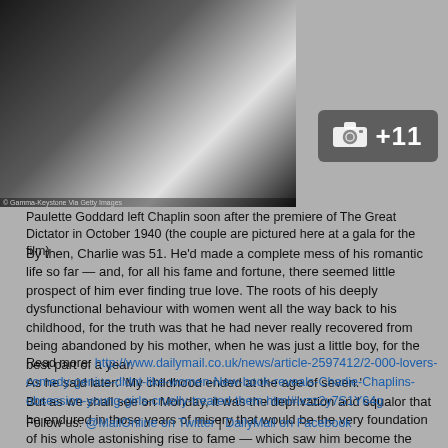[Figure (photo): Black and white photograph, partial view of two people at a gala. Photo credit: © Gamma-Keystone Via Getty Images]
Paulette Goddard left Chaplin soon after the premiere of The Great Dictator in October 1940 (the couple are pictured here at a gala for the film)
By then, Charlie was 51. He'd made a complete mess of his romantic life so far — and, for all his fame and fortune, there seemed little prospect of him ever finding true love. The roots of his deeply dysfunctional behaviour with women went all the way back to his childhood, for the truth was that he had never really recovered from being abandoned by his mother, when he was just a little boy, for the best part of a year.
As he said later: 'My childhood ended at the age of seven.'
But as we shall see on Monday, it was the deprivation and squalor that he endured in those years of misery that would be the very foundation of his whole astonishing rise to fame — which saw him become the best-paid entertainer the world had ever known.
Read more: http://www.dailymail.co.uk/news/article-2597412/2-000-lovers-comedy-genius-didnt-like-women-New-book-reveals-Charlie-Chaplins-obsession-young-girls-cruelly-treated-them.html#ixzz2y7S1Y64g
Follow us: @MailOnline on Twitter | DailyMail on Facebook